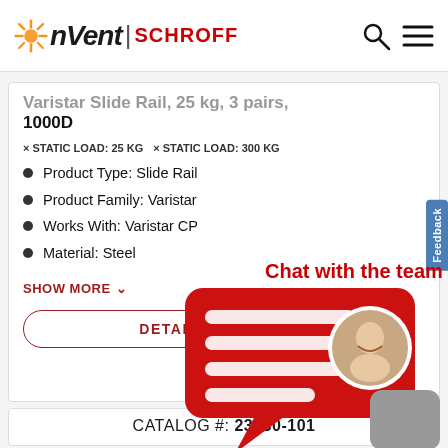[Figure (logo): nVent SCHROFF logo with sun burst icon and search/menu icons in header]
Varistar Slide Rail, 25 kg, 3 pairs, 1000D
× STATIC LOAD: 25 KG   × STATIC LOAD: 300 KG
Product Type: Slide Rail
Product Family: Varistar
Works With: Varistar CP
Material: Steel
SHOW MORE ∨
DETAILS
[Figure (illustration): Red chat bubble with person avatar and text lines, overlaid on product section. Label reads 'Chat with the team']
CATALOG #: 23130-101
[Figure (photo): Product image of slide rail hardware at bottom]